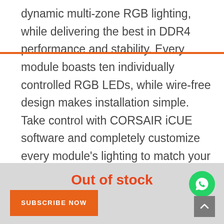dynamic multi-zone RGB lighting, while delivering the best in DDR4 performance and stability. Every module boasts ten individually controlled RGB LEDs, while wire-free design makes installation simple. Take control with CORSAIR iCUE software and completely customize every module's lighting to match your system, or easily synchronize lighting across all your CORSAIR products with Light LINK. A custom designed PCB provides the highest signal quality for the best level of performance and stability on the latest AMD and Intel DDR4
Out of stock
SUBSCRIBE NOW